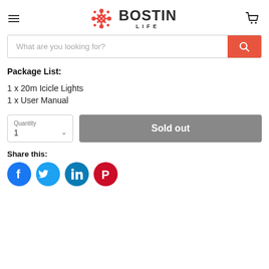[Figure (logo): Bostin Life logo with red geometric icon and BOSTIN LIFE text, hamburger menu icon on left, cart icon on right]
[Figure (screenshot): Search bar with placeholder 'What are you looking for?' and red search button]
Package List:
1 x 20m Icicle Lights
1 x User Manual
[Figure (screenshot): Quantity selector showing '1' and Sold out button]
Share this:
[Figure (infographic): Social media icons: Facebook, Twitter, LinkedIn, Pinterest]